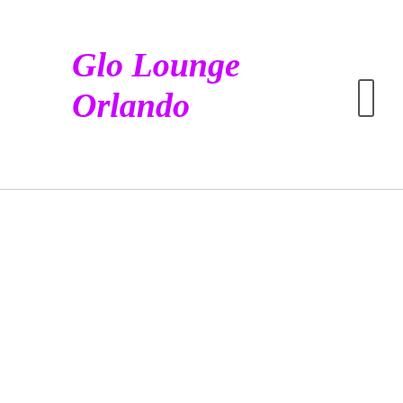Glo Lounge Orlando
[Figure (other): Hamburger/menu icon — a small rectangular outline button in the top right corner of the header]